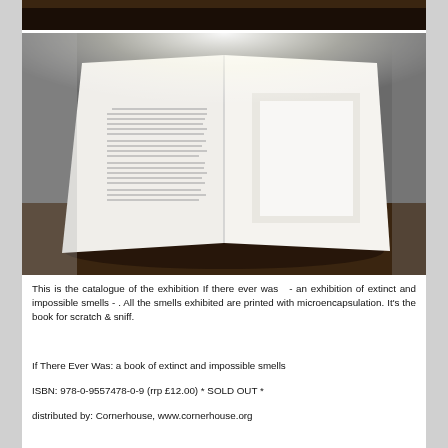[Figure (photo): Top strip of a dark brown wooden surface, partial photo at top of page]
[Figure (photo): Open book photographed from above on a dark wooden table. Left page has small text, right page has a light square/rectangle image on white paper. Bright light source visible at top center.]
This is the catalogue of the exhibition If there ever was   - an exhibition of extinct and impossible smells - . All the smells exhibited are printed with microencapsulation. It's the book for scratch & sniff.
If There Ever Was: a book of extinct and impossible smells
ISBN: 978-0-9557478-0-9 (rrp £12.00) * SOLD OUT *
distributed by: Cornerhouse, www.cornerhouse.org